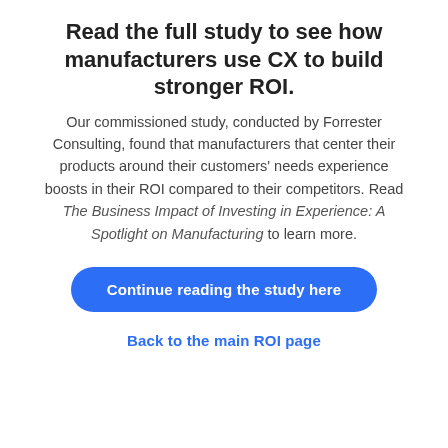Read the full study to see how manufacturers use CX to build stronger ROI.
Our commissioned study, conducted by Forrester Consulting, found that manufacturers that center their products around their customers' needs experience boosts in their ROI compared to their competitors. Read The Business Impact of Investing in Experience: A Spotlight on Manufacturing to learn more.
Continue reading the study here
Back to the main ROI page